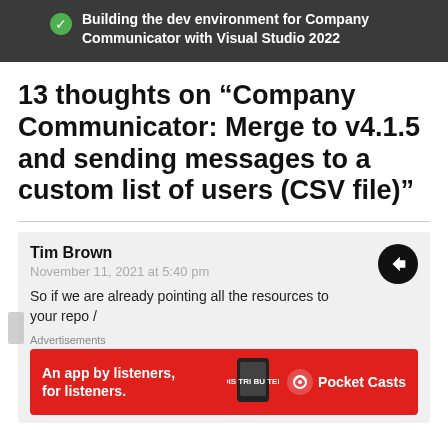Building the dev environment for Company Communicator with Visual Studio 2022
13 thoughts on “Company Communicator: Merge to v4.1.5 and sending messages to a custom list of users (CSV file)”
Tim Brown
November 11, 2021 at 5:40 pm

So if we are already pointing all the resources to your repo /
Advertisements
[Figure (infographic): Red Pocket Casts advertisement banner: 'An app by listeners, for listeners.' with phone image and Pocket Casts logo]